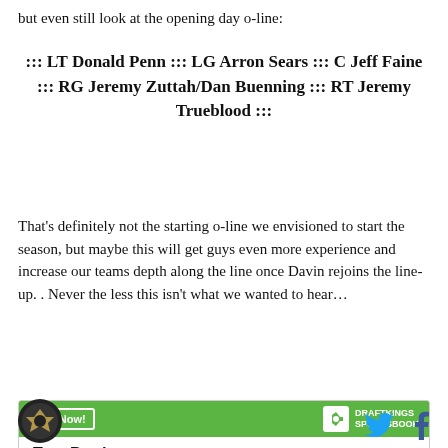but even still look at the opening day o-line:
::: LT Donald Penn ::: LG Arron Sears ::: C Jeff Faine ::: RG Jeremy Zuttah/Dan Buenning ::: RT Jeremy Trueblood :::
That’s definitely not the starting o-line we envisioned to start the season, but maybe this will get guys even more experience and increase our teams depth along the line once Davin rejoins the line-up. . Never the less this isn’t what we wanted to hear…
[Figure (other): DraftKings Sportsbook advertisement widget with green header showing 'Bet Now!' button and DraftKings logo, and white body showing 'Tom Brady']
[Figure (logo): Circular dark logo in bottom left footer]
[Figure (other): Twitter bird icon and Facebook 'f' icon in bottom right footer]